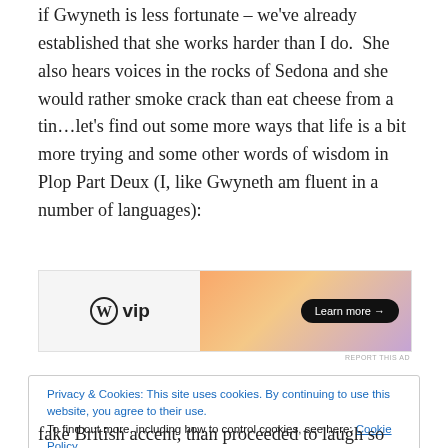if Gwyneth is less fortunate – we've already established that she works harder than I do.  She also hears voices in the rocks of Sedona and she would rather smoke crack than eat cheese from a tin…let's find out some more ways that life is a bit more trying and some other words of wisdom in Plop Part Deux (I, like Gwyneth am fluent in a number of languages):
[Figure (other): WordPress VIP advertisement banner with 'Learn more →' button on a gradient orange-purple background]
Privacy & Cookies: This site uses cookies. By continuing to use this website, you agree to their use.
To find out more, including how to control cookies, see here: Cookie Policy
fake British accent, than proceeded to laugh so hard at